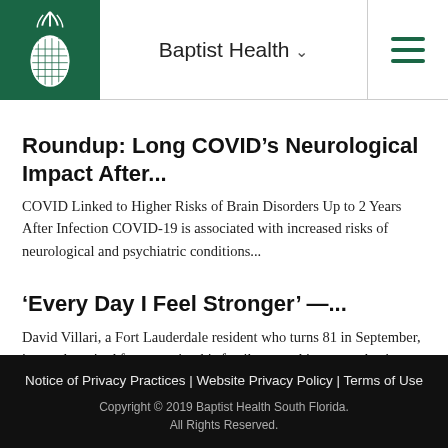Baptist Health
Roundup: Long COVID's Neurological Impact After...
COVID Linked to Higher Risks of Brain Disorders Up to 2 Years After Infection COVID-19 is associated with increased risks of neurological and psychiatric conditions...
'Every Day I Feel Stronger' —...
David Villari, a Fort Lauderdale resident who turns 81 in September, is mostly retired from running his family-owned insurance business. He stays active by exercising...
Notice of Privacy Practices | Website Privacy Policy | Terms of Use
Copyright © 2019 Baptist Health South Florida. All Rights Reserved.